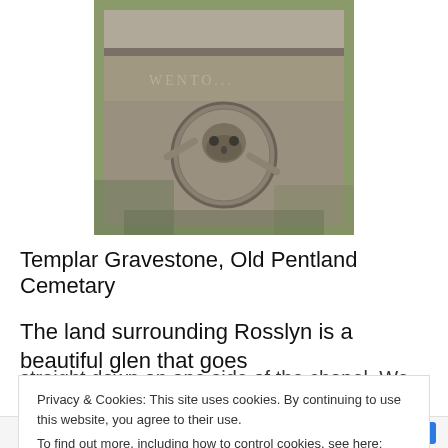[Figure (photo): A weathered stone Templar gravestone in a cemetery, showing a carved skull and crossbones motif in a circular medallion, with mossy stone surface.]
Templar Gravestone, Old Pentland Cemetary
The land surrounding Rosslyn is a beautiful glen that goes
straight down on one side of the chapel. We first walked
Privacy & Cookies: This site uses cookies. By continuing to use this website, you agree to their use. To find out more, including how to control cookies, see here: Cookie Policy
Close and accept